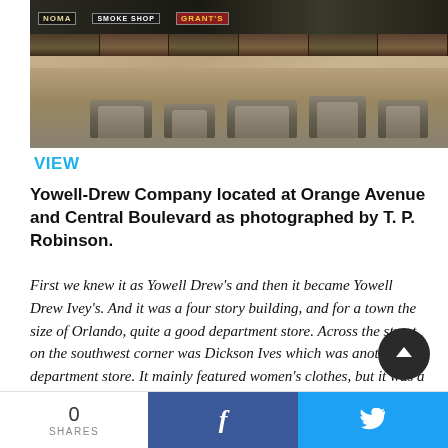[Figure (photo): Sepia-toned historical photograph of Yowell-Drew Company on Orange Avenue and Central Boulevard, showing storefronts with awnings, signs for Smoke Shop and Grant's, and vintage automobiles parked along the street, photographed by T. P. Robinson.]
VIEW
Yowell-Drew Company located at Orange Avenue and Central Boulevard as photographed by T. P. Robinson.
First we knew it as Yowell Drew's and then it became Yowell Drew Ivey's. And it was a four story building, and for a town the size of Orlando, quite a good department store. Across the street on the southwest corner was Dickson Ives which was another department store. It mainly featured women's clothes, but it was a very good department store.
0 SHARES